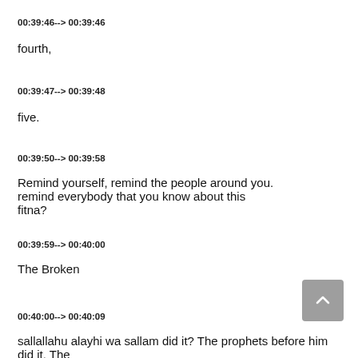00:39:46--> 00:39:46
fourth,
00:39:47--> 00:39:48
five.
00:39:50--> 00:39:58
Remind yourself, remind the people around you. remind everybody that you know about this fitna?
00:39:59--> 00:40:00
The Broken
00:40:00--> 00:40:09
sallallahu alayhi wa sallam did it? The prophets before him did it. The